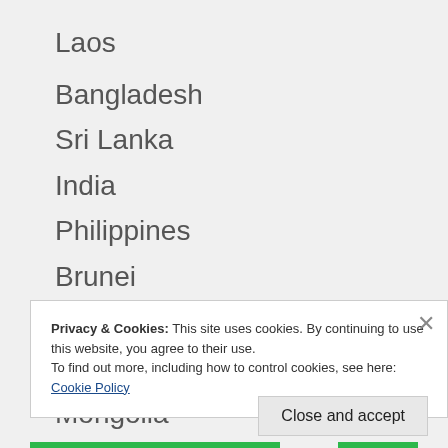Laos
Bangladesh
Sri Lanka
India
Philippines
Brunei
Timor Leste
Taiwan
Mongolia
Privacy & Cookies: This site uses cookies. By continuing to use this website, you agree to their use.
To find out more, including how to control cookies, see here: Cookie Policy
Close and accept